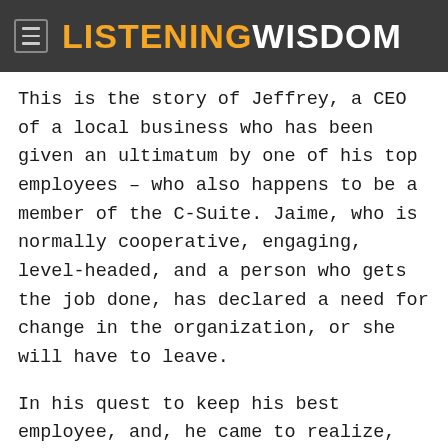LISTENINGWISDOM
This is the story of Jeffrey, a CEO of a local business who has been given an ultimatum by one of his top employees – who also happens to be a member of the C-Suite. Jaime, who is normally cooperative, engaging, level-headed, and a person who gets the job done, has declared a need for change in the organization, or she will have to leave.
In his quest to keep his best employee, and, he came to realize, most trusted confidante, Jeffrey has called upon the Listeners: Vivian and Cecile. Together they walk on the path to listening, teach Jeffrey how to implement the